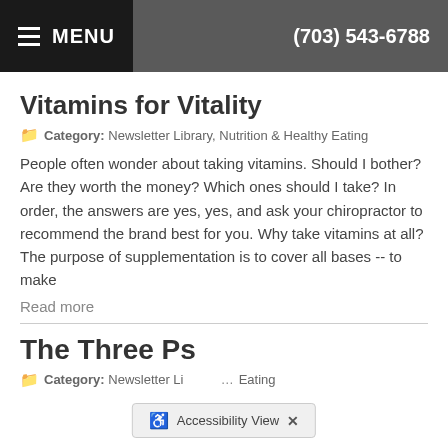MENU | (703) 543-6788
Vitamins for Vitality
Category: Newsletter Library, Nutrition & Healthy Eating
People often wonder about taking vitamins. Should I bother? Are they worth the money? Which ones should I take? In order, the answers are yes, yes, and ask your chiropractor to recommend the brand best for you. Why take vitamins at all? The purpose of supplementation is to cover all bases -- to make
Read more
The Three Ps
Category: Newsletter Library, Nutrition & Healthy Eating